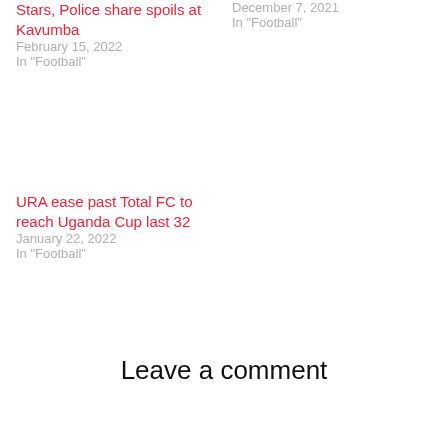Stars, Police share spoils at Kavumba
February 15, 2022
In "Football"
December 7, 2021
In "Football"
URA ease past Total FC to reach Uganda Cup last 32
January 22, 2022
In "Football"
Leave a comment